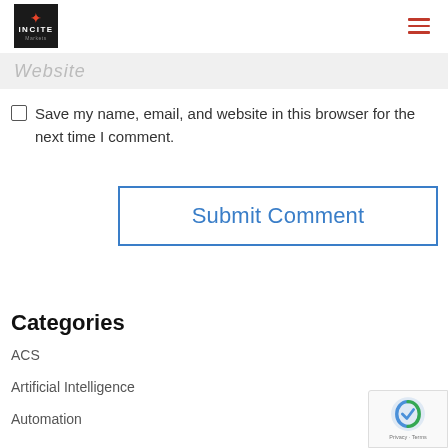INCITE [logo with hamburger menu]
Website
Save my name, email, and website in this browser for the next time I comment.
Submit Comment
Categories
ACS
Artificial Intelligence
Automation